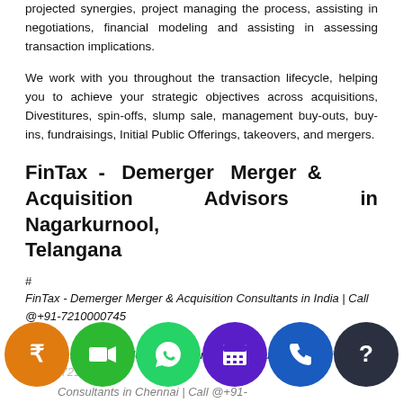projected synergies, project managing the process, assisting in negotiations, financial modeling and assisting in assessing transaction implications.
We work with you throughout the transaction lifecycle, helping you to achieve your strategic objectives across acquisitions, Divestitures, spin-offs, slump sale, management buy-outs, buy-ins, fundraisings, Initial Public Offerings, takeovers, and mergers.
FinTax - Demerger Merger & Acquisition Advisors in Nagarkurnool, Telangana
#
FinTax - Demerger Merger & Acquisition Consultants in India | Call @+91-7210000745
#
FinTax - Demerger Merger & Acquisition Consultants in Delhi | Call @+91-7210000745
#
FinTax - Demerger Merger & Acquisition Consultants in Chennai | Call @+91-
[Figure (infographic): Row of six circular icon buttons: orange rupee symbol, dark green video camera, light green WhatsApp phone, purple calendar/grid, blue phone, dark navy question mark]